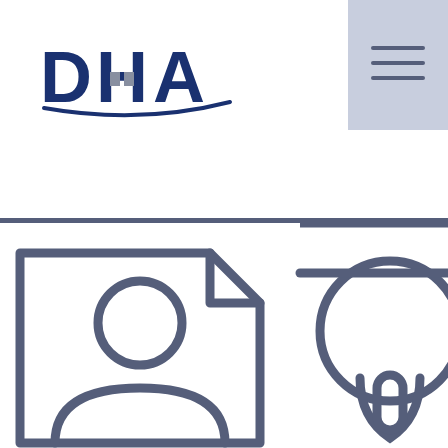[Figure (logo): DHA logo with blue text and grey accent squares under the H]
[Figure (other): Navigation hamburger menu icon (three horizontal lines) on a light blue-grey background square in the top right corner]
[Figure (illustration): Outline icon of a person/user ID card (rectangle with rounded top-right corner, circle head, and shoulder outline) on the left half, and partial outline of a location pin / key icon on the right half, below a horizontal dark divider line]